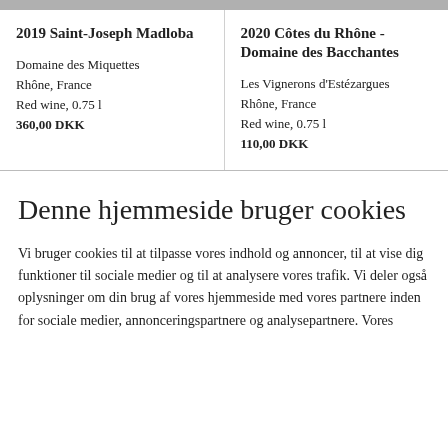2019 Saint-Joseph Madloba
Domaine des Miquettes
Rhône, France
Red wine, 0.75 l
360,00 DKK
2020 Côtes du Rhône - Domaine des Bacchantes
Les Vignerons d'Estézargues
Rhône, France
Red wine, 0.75 l
110,00 DKK
Denne hjemmeside bruger cookies
Vi bruger cookies til at tilpasse vores indhold og annoncer, til at vise dig funktioner til sociale medier og til at analysere vores trafik. Vi deler også oplysninger om din brug af vores hjemmeside med vores partnere inden for sociale medier, annonceringspartnere og analysepartnere. Vores